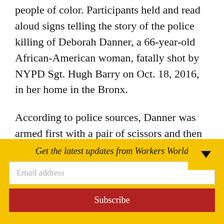people of color. Participants held and read aloud signs telling the story of the police killing of Deborah Danner, a 66-year-old African-American woman, fatally shot by NYPD Sgt. Hugh Barry on Oct. 18, 2016, in her home in the Bronx.

According to police sources, Danner was armed first with a pair of scissors and then a baseball bat. But according to court testimony by Brittney Mullings, an emergency medical technician, Danner had
Get the latest updates from Workers World
Email address
Subscribe